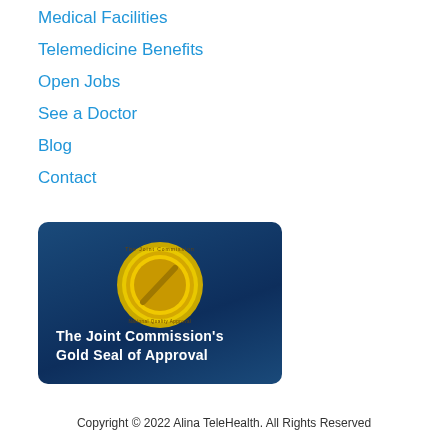Medical Facilities
Telemedicine Benefits
Open Jobs
See a Doctor
Blog
Contact
[Figure (logo): The Joint Commission's Gold Seal of Approval badge on a dark blue rounded rectangle background, featuring a gold medallion/seal at the top and white bold text reading 'The Joint Commission's Gold Seal of Approval']
Copyright © 2022 Alina TeleHealth. All Rights Reserved